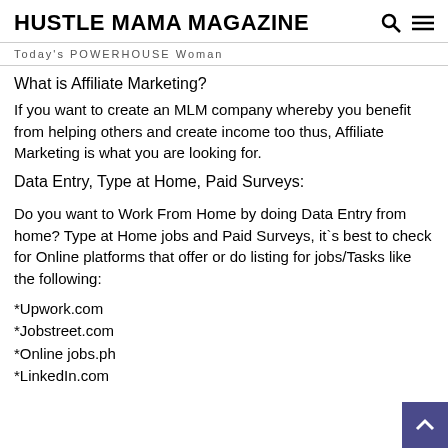HUSTLE MAMA MAGAZINE
Today's POWERHOUSE Woman
What is Affiliate Marketing?
If you want to create an MLM company whereby you benefit from helping others and create income too thus, Affiliate Marketing is what you are looking for.
Data Entry, Type at Home, Paid Surveys:
Do you want to Work From Home by doing Data Entry from home? Type at Home jobs and Paid Surveys, it`s best to check for Online platforms that offer or do listing for jobs/Tasks like the following:
*Upwork.com
*Jobstreet.com
*Online jobs.ph
*LinkedIn.com